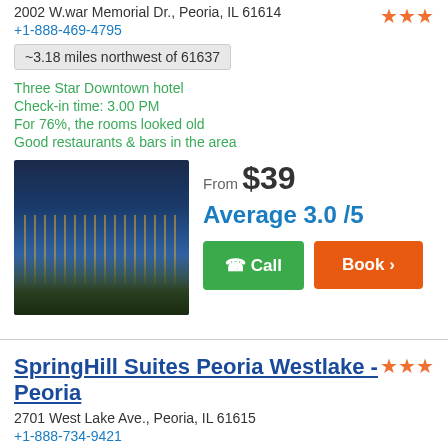2002 W.war Memorial Dr., Peoria, IL 61614
+1-888-469-4795
~3.18 miles northwest of 61637
Three Star Downtown hotel
Check-in time: 3.00 PM
For 76%, the rooms looked old
Good restaurants & bars in the area
[Figure (photo): Hotel exterior at night with parking lot and lights]
From $39
Average 3.0 /5
Call
Book
SpringHill Suites Peoria Westlake - Peoria
2701 West Lake Ave., Peoria, IL 61615
+1-888-734-9421
~3.41 miles northwest of 61637
3-star Suburban property
Shuttle from airport available
Clean room
Big rooms